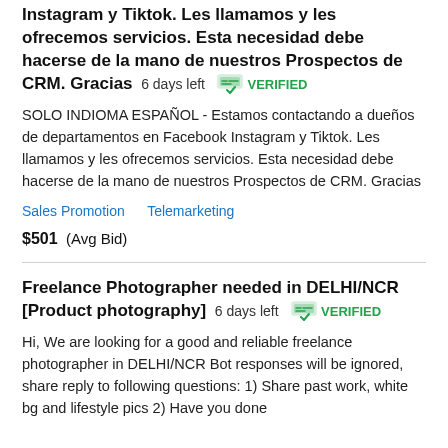Instagram y Tiktok. Les llamamos y les ofrecemos servicios. Esta necesidad debe hacerse de la mano de nuestros Prospectos de CRM. Gracias  6 days left  VERIFIED
SOLO INDIOMA ESPAÑOL - Estamos contactando a dueños de departamentos en Facebook Instagram y Tiktok. Les llamamos y les ofrecemos servicios. Esta necesidad debe hacerse de la mano de nuestros Prospectos de CRM. Gracias
Sales Promotion   Telemarketing
$501  (Avg Bid)
Freelance Photographer needed in DELHI/NCR [Product photography]  6 days left  VERIFIED
Hi, We are looking for a good and reliable freelance photographer in DELHI/NCR Bot responses will be ignored, share reply to following questions: 1) Share past work, white bg and lifestyle pics 2) Have you done